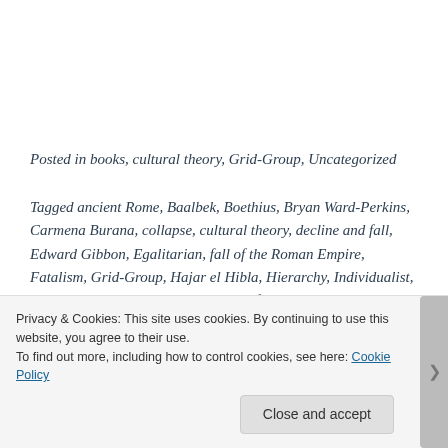Posted in books, cultural theory, Grid-Group, Uncategorized
Tagged ancient Rome, Baalbek, Boethius, Bryan Ward-Perkins, Carmena Burana, collapse, cultural theory, decline and fall, Edward Gibbon, Egalitarian, fall of the Roman Empire, Fatalism, Grid-Group, Hajar el Hibla, Hierarchy, Individualist, Jared Diamond, John Betjemen, rota fortunae,
Privacy & Cookies: This site uses cookies. By continuing to use this website, you agree to their use.
To find out more, including how to control cookies, see here: Cookie Policy